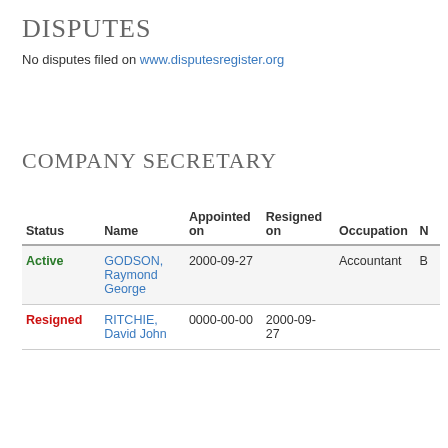DISPUTES
No disputes filed on www.disputesregister.org
COMPANY SECRETARY
| Status | Name | Appointed on | Resigned on | Occupation | N |
| --- | --- | --- | --- | --- | --- |
| Active | GODSON, Raymond George | 2000-09-27 |  | Accountant | B |
| Resigned | RITCHIE, David John | 0000-00-00 | 2000-09-27 |  |  |